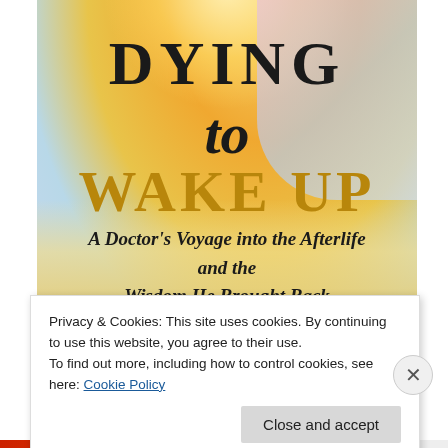[Figure (illustration): Book cover of 'Dying to Wake Up' by a doctor. Features a sky background with sun rays, golden clouds, and blue sky. Title 'DYING to WAKE UP' in large text with subtitle 'A Doctor's Voyage into the Afterlife and the Wisdom He Brought Back'.]
Privacy & Cookies: This site uses cookies. By continuing to use this website, you agree to their use. To find out more, including how to control cookies, see here: Cookie Policy
Close and accept